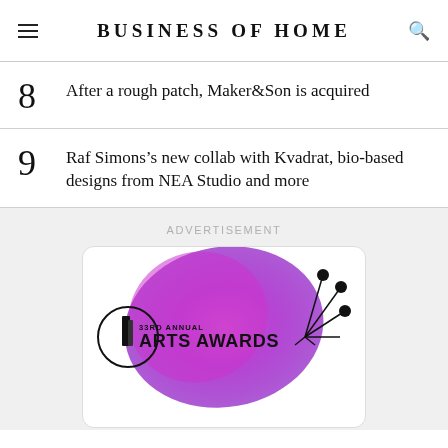BUSINESS OF HOME
8  After a rough patch, Maker&Son is acquired
9  Raf Simons’s new collab with Kvadrat, bio-based designs from NEA Studio and more
[Figure (illustration): Advertisement banner for 33rd Annual Arts Awards with purple gradient blob background, circular logo and decorative starburst lines]